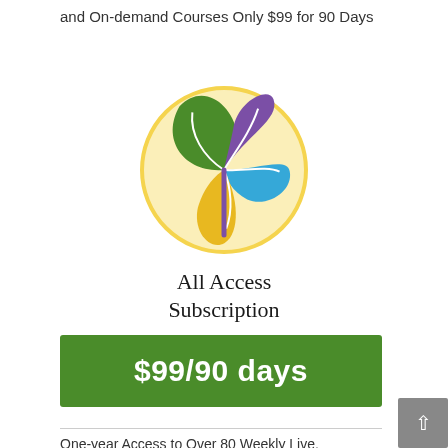and On-demand Courses Only $99 for 90 Days
[Figure (logo): All Access Subscription logo: circular badge with green, purple, blue, and yellow/gold leaf shapes on a light yellow circular background]
All Access Subscription
$99/90 days
One-year Access to Over 80 Weekly Live, Rebroadcast and On-demand Courses Only